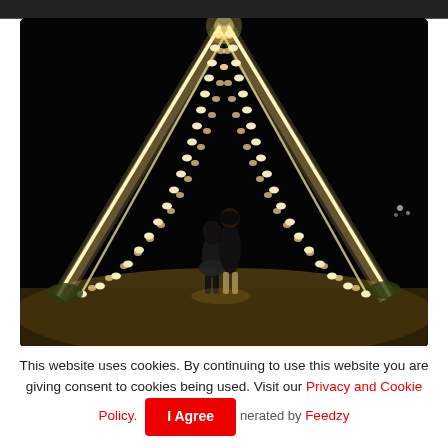[Figure (photo): Dark strip at top of page, appears to be the bottom edge of a previous image]
[Figure (photo): Nighttime outdoor photo of a couple standing close together under tall illuminated structures (possibly fire or lit rope columns forming an arch/A-frame shape) on a sandy beach-like surface. Background is very dark/black sky.]
This website uses cookies. By continuing to use this website you are giving consent to cookies being used. Visit our Privacy and Cookie Policy.
I Agree
Generated by Feedzy